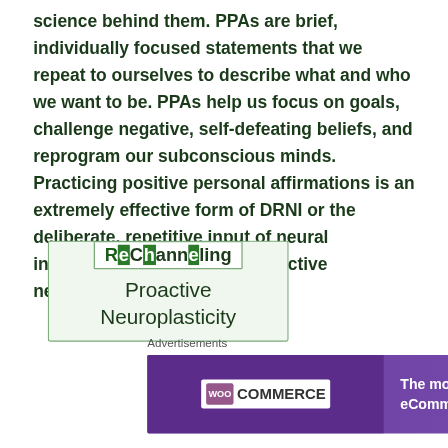science behind them. PPAs are brief, individually focused statements that we repeat to ourselves to describe what and who we want to be. PPAs help us focus on goals, challenge negative, self-defeating beliefs, and reprogram our subconscious minds. Practicing positive personal affirmations is an extremely effective form of DRNI or the deliberate, repetitive input of neural information that supports proactive neuroplasticity. LINK
[Figure (logo): ReChanneling logo with green vertical bars, inside a light green bordered box, with text 'Proactive Neuroplasticity' below]
Advertisements
[Figure (screenshot): WooCommerce advertisement banner: purple background, WooCommerce logo on left, text 'The most customizable eCommerce platform' on right]